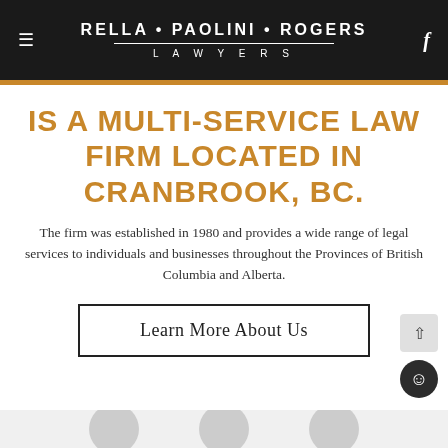RELLA • PAOLINI • ROGERS LAWYERS
IS A MULTI-SERVICE LAW FIRM LOCATED IN CRANBROOK, BC.
The firm was established in 1980 and provides a wide range of legal services to individuals and businesses throughout the Provinces of British Columbia and Alberta.
Learn More About Us